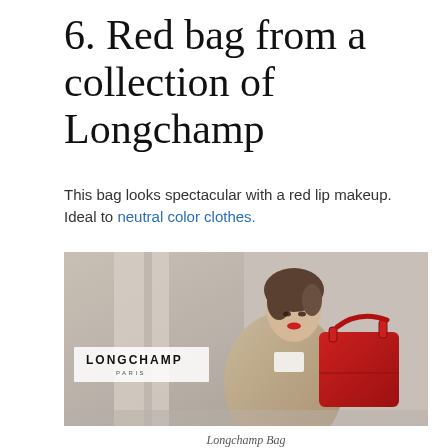6. Red bag from a collection of Longchamp
This bag looks spectacular with a red lip makeup. Ideal to neutral color clothes.
[Figure (photo): Longchamp Paris fashion advertisement photo: a woman with short brown hair and red lipstick wearing a beige/camel coat, carrying a large red Longchamp bag. The Longchamp Paris logo appears on the lower left of the image.]
Longchamp Bag